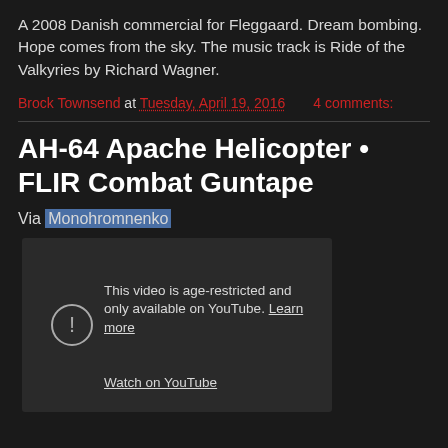A 2008 Danish commercial for Fleggaard. Dream bombing. Hope comes from the sky. The music track is Ride of the Valkyries by Richard Wagner.
Brock Townsend at Tuesday, April 19, 2016   4 comments:
AH-64 Apache Helicopter • FLIR Combat Guntape
Via Monohromnenko
[Figure (screenshot): Embedded YouTube video player showing age-restricted content message with exclamation icon, text 'This video is age-restricted and only available on YouTube. Learn more' and 'Watch on YouTube' link]